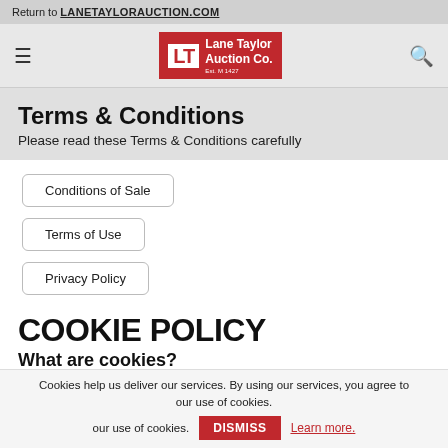Return to LANETAYLORAUCTION.COM
[Figure (logo): Lane Taylor Auction Co. logo — red background with LT initials in white box and white text]
Terms & Conditions
Please read these Terms & Conditions carefully
Conditions of Sale
Terms of Use
Privacy Policy
COOKIE POLICY
What are cookies?
Cookies help us deliver our services. By using our services, you agree to our use of cookies. DISMISS Learn more.